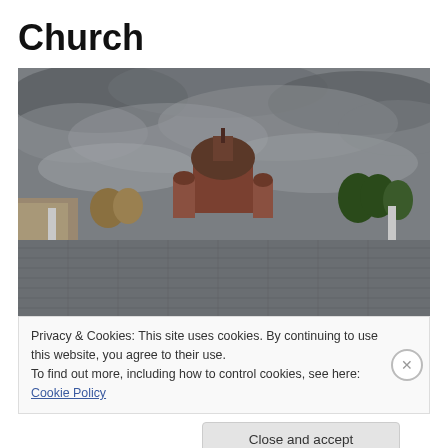Church
[Figure (photo): Photograph of a church with a large dome and brick facade visible above a foreground shingled rooftop, under an overcast grey sky with autumn trees in the background.]
Privacy & Cookies: This site uses cookies. By continuing to use this website, you agree to their use.
To find out more, including how to control cookies, see here: Cookie Policy
Close and accept